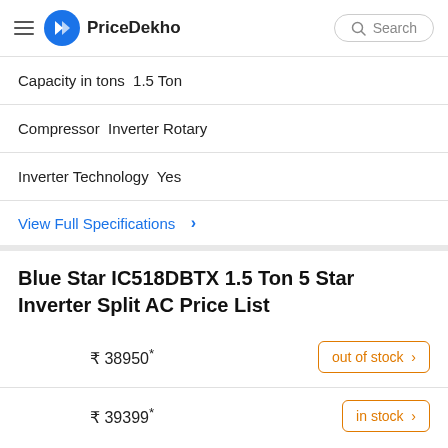PriceDekho — Search
Capacity in tons 1.5 Ton
Compressor Inverter Rotary
Inverter Technology Yes
View Full Specifications >
Blue Star IC518DBTX 1.5 Ton 5 Star Inverter Split AC Price List
₹ 38950* — out of stock >
₹ 39399* — in stock >